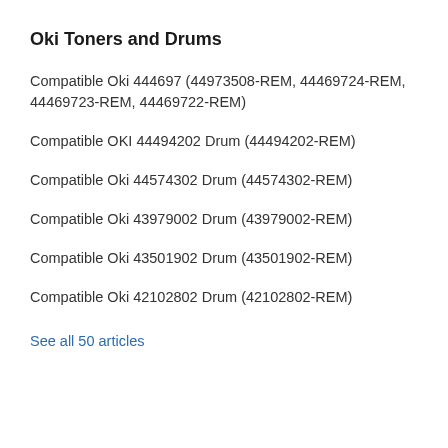Oki Toners and Drums
Compatible Oki 444697 (44973508-REM, 44469724-REM, 44469723-REM, 44469722-REM)
Compatible OKI 44494202 Drum (44494202-REM)
Compatible Oki 44574302 Drum (44574302-REM)
Compatible Oki 43979002 Drum (43979002-REM)
Compatible Oki 43501902 Drum (43501902-REM)
Compatible Oki 42102802 Drum (42102802-REM)
See all 50 articles